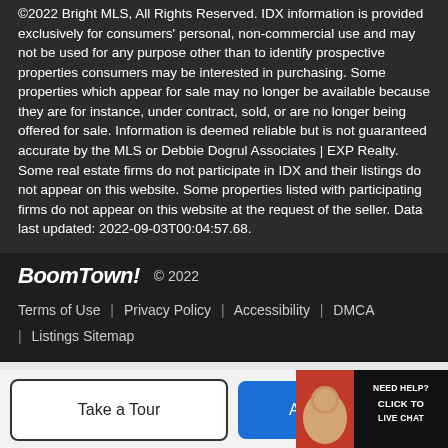©2022 Bright MLS, All Rights Reserved. IDX information is provided exclusively for consumers' personal, non-commercial use and may not be used for any purpose other than to identify prospective properties consumers may be interested in purchasing. Some properties which appear for sale may no longer be available because they are for instance, under contract, sold, or are no longer being offered for sale. Information is deemed reliable but is not guaranteed accurate by the MLS or Debbie Dogrul Associates | EXP Realty. Some real estate firms do not participate in IDX and their listings do not appear on this website. Some properties listed with participating firms do not appear on this website at the request of the seller. Data last updated: 2022-09-03T00:04:57.68.
BoomTown! © 2022 | Terms of Use | Privacy Policy | Accessibility | DMCA | Listings Sitemap
Take a Tour | Ask A Question | NEED HELP? CLICK TO LIVE CHAT